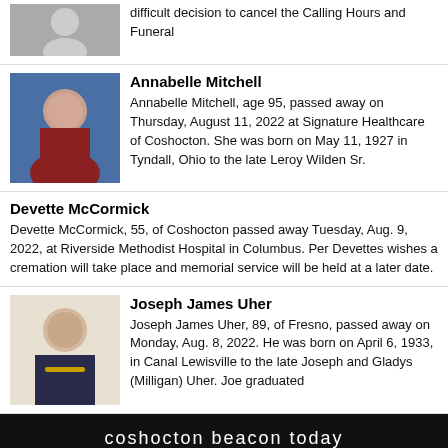difficult decision to cancel the Calling Hours and Funeral
Annabelle Mitchell
Annabelle Mitchell, age 95, passed away on Thursday, August 11, 2022 at Signature Healthcare of Coshocton. She was born on May 11, 1927 in Tyndall, Ohio to the late Leroy Wilden Sr.
Devette McCormick
Devette McCormick, 55, of Coshocton passed away Tuesday, Aug. 9, 2022, at Riverside Methodist Hospital in Columbus. Per Devettes wishes a cremation will take place and memorial service will be held at a later date.
Joseph James Uher
Joseph James Uher, 89, of Fresno, passed away on Monday, Aug. 8, 2022. He was born on April 6, 1933, in Canal Lewisville to the late Joseph and Gladys (Milligan) Uher. Joe graduated
coshocton beacon today
HOME   CONTACT US   SITE MAP
© 2022 coshocton beacon today. 226 Main Street, Coshocton, OH 43812 - Phone: 740-622-0244, ext. 7701 - Fax: 740-623-9937